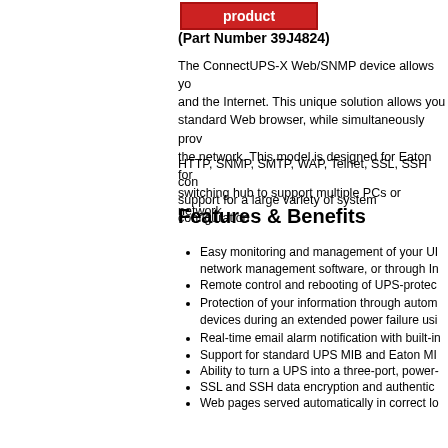product
(Part Number 39J4824)
The ConnectUPS-X Web/SNMP device allows you to manage your UPS and the Internet. This unique solution allows you to monitor UPS via a standard Web browser, while simultaneously providing SNMP access across the network. This model is designed for Eaton for use with a switching hub to support multiple PCs or network devices.
HTTP, SNMP, SMTP, WAP, Telnet, SSL, SSH communications protocols support for a large variety of system configurations.
Features & Benefits
Easy monitoring and management of your UPS via SNMP-based network management software, or through Internet/Intranet
Remote control and rebooting of UPS-protected equipment
Protection of your information through automatic shutdown of devices during an extended power failure using PowerChute
Real-time email alarm notification with built-in
Support for standard UPS MIB and Eaton MIB
Ability to turn a UPS into a three-port, power-managed
SSL and SSH data encryption and authentication
Web pages served automatically in correct local language
→ Downloadable local language supplements
English (built-in)
Simplified Chinese (built-in)
Russian
French
German
Italian
Portuguese